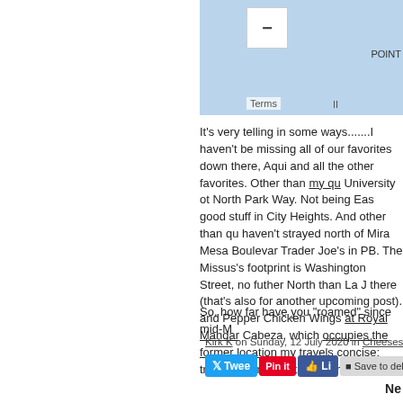[Figure (map): Partial map screenshot showing blue/light-blue area with a minus zoom button, Terms label, and POINT label]
It's very telling in some ways.......I haven't been missing all of our favorites down there, Aqui and all the other favorites. Other than my qu University ot North Park Way. Not being Eas good stuff in City Heights. And other than qu haven't strayed north of Mira Mesa Boulevar Trader Joe's in PB. The Missus's footprint is Washington Street, no futher North than La J there (that's also for another upcoming post). and Pepper Chicken Wings at Royal Mandar Cabeza, which occupies the former location my travels concise; trying to consolidate stop "right thing".
So, how far have you "roamed" since mid-M
Kirk K on Sunday, 12 July 2020 in Cheesesteaks, S
[Figure (infographic): Social sharing buttons: Tweet, Pin it, Like, Save to del]
Ne